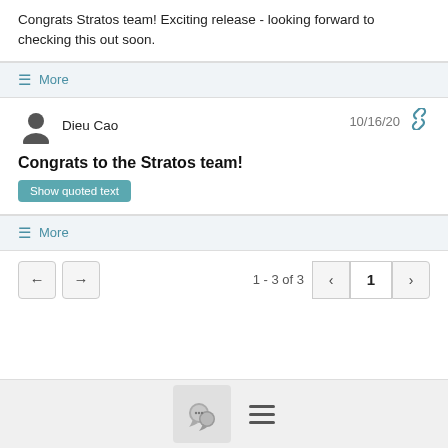Congrats Stratos team! Exciting release - looking forward to checking this out soon.
More
Dieu Cao  10/16/20
Congrats to the Stratos team!
Show quoted text
More
1 - 3 of 3  1